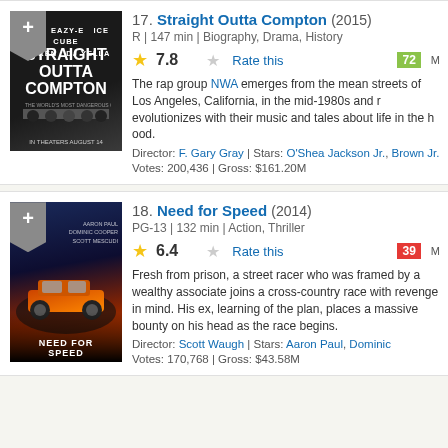[Figure (photo): Movie poster for Straight Outta Compton (2015) showing black and white image of five men walking]
17. Straight Outta Compton (2015)
R | 147 min | Biography, Drama, History
7.8 Rate this 72 M
The rap group NWA emerges from the mean streets of Los Angeles, California, in the mid-1980s and revolutionizes Hip Hop with their music and tales about life in the hood.
Director: F. Gary Gray | Stars: O'Shea Jackson Jr., Brown Jr.
Votes: 200,436 | Gross: $161.20M
[Figure (photo): Movie poster for Need for Speed (2014) showing a man in front of a car with blue and orange colors]
18. Need for Speed (2014)
PG-13 | 132 min | Action, Thriller
6.4 Rate this 39 M
Fresh from prison, a street racer who was framed by a wealthy business associate joins a cross-country race with revenge in mind. His ex-partner, learning of the plan, places a massive bounty on his head as the race begins.
Director: Scott Waugh | Stars: Aaron Paul, Dominic Cooper
Votes: 170,768 | Gross: $43.58M